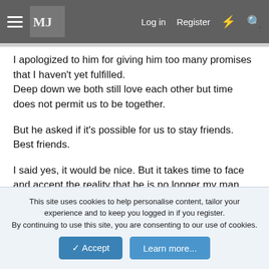Log in   Register
I apologized to him for giving him too many promises that I haven't yet fulfilled.
Deep down we both still love each other but time does not permit us to be together.
But he asked if it's possible for us to stay friends. Best friends.
I said yes, it would be nice. But it takes time to face and accept the reality that he is no longer my man.
It is sad. I really believe that he is the one for me. Same thing for him as well.
I'm not sure how I can continue without thinking of him. Knowing
This site uses cookies to help personalise content, tailor your experience and to keep you logged in if you register.
By continuing to use this site, you are consenting to our use of cookies.